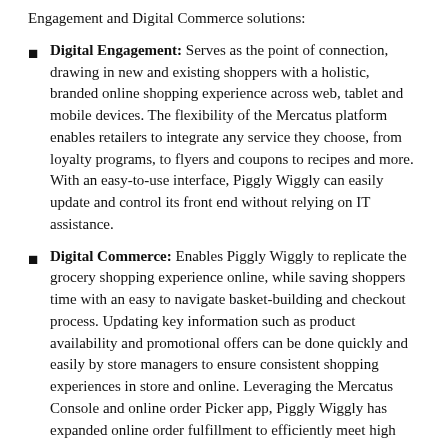Engagement and Digital Commerce solutions:
Digital Engagement: Serves as the point of connection, drawing in new and existing shoppers with a holistic, branded online shopping experience across web, tablet and mobile devices. The flexibility of the Mercatus platform enables retailers to integrate any service they choose, from loyalty programs, to flyers and coupons to recipes and more. With an easy-to-use interface, Piggly Wiggly can easily update and control its front end without relying on IT assistance.
Digital Commerce: Enables Piggly Wiggly to replicate the grocery shopping experience online, while saving shoppers time with an easy to navigate basket-building and checkout process. Updating key information such as product availability and promotional offers can be done quickly and easily by store managers to ensure consistent shopping experiences in store and online. Leveraging the Mercatus Console and online order Picker app, Piggly Wiggly has expanded online order fulfillment to efficiently meet high